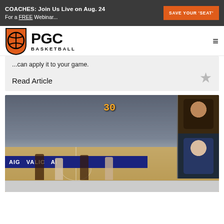COACHES: Join Us Live on Aug. 24 For a FREE Webinar... SAVE YOUR 'SEAT'
[Figure (logo): PGC Basketball logo with orange basketball shield and bold PGC BASKETBALL text]
...can apply it to your game.
Read Article
[Figure (screenshot): Video thumbnail showing a basketball game with players on court, crowd in background, scoreboard showing 30, AIG VALIC sponsor banner, and two picture-in-picture webcam feeds in the top right corner]